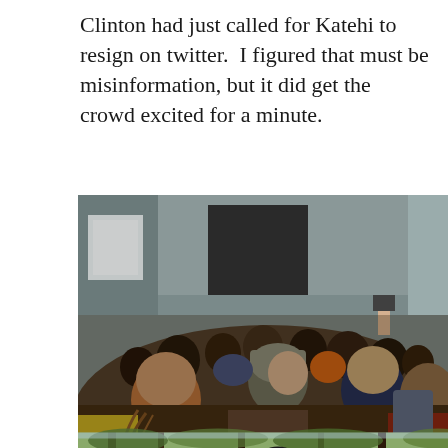Clinton had just called for Katehi to resign on twitter.  I figured that must be misinformation, but it did get the crowd excited for a minute.
[Figure (photo): A large crowd of people, viewed from behind, gathered near a building entrance. Many are wearing winter hats and jackets. One person is holding up a camera or phone.]
[Figure (photo): Partial view of another outdoor crowd scene, partially cut off at the bottom of the page.]